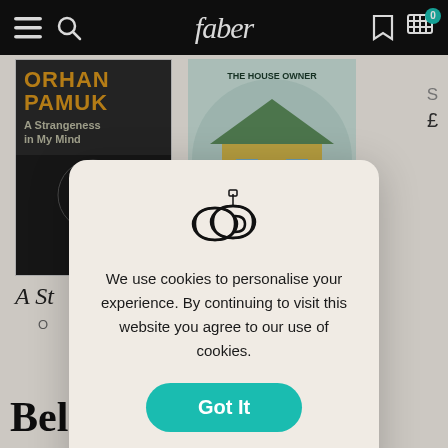faber
[Figure (screenshot): Faber bookshop website screenshot showing book covers for 'A Strangeness in My Mind' by Orhan Pamuk and another book with a yellow house illustration, with a cookie consent modal dialog overlaid. The modal has a coffee/cookie icon, text about cookies, a teal 'Got It' button, and a 'Read Our Cookie Policy' link.]
We use cookies to personalise your experience. By continuing to visit this website you agree to our use of cookies.
Got It
Read Our Cookie Policy